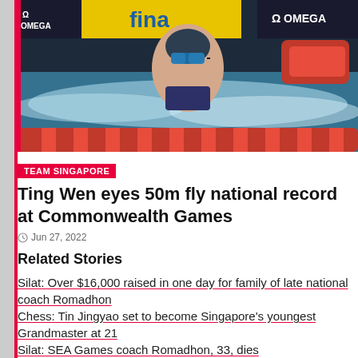[Figure (photo): Female swimmer wearing goggles and swim cap in a competitive pool, with OMEGA and FINA branding visible in the background. Red lane dividers visible in foreground.]
TEAM SINGAPORE
Ting Wen eyes 50m fly national record at Commonwealth Games
Jun 27, 2022
Related Stories
Silat: Over $16,000 raised in one day for family of late national coach Romadhon
Chess: Tin Jingyao set to become Singapore's youngest Grandmaster at 21
Silat: SEA Games coach Romadhon, 33, dies after a road accident in Bali